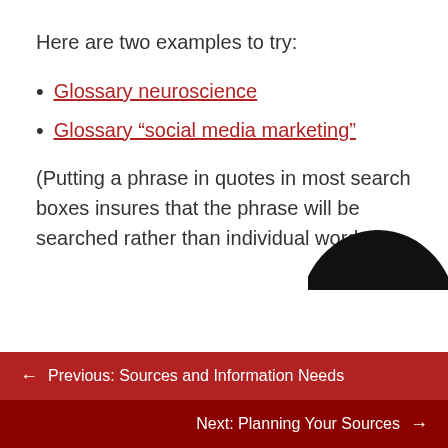Here are two examples to try:
Glossary neuroscience
Glossary “social media marketing”
(Putting a phrase in quotes in most search boxes insures that the phrase will be searched rather than individual words.)
To Answer
← Previous: Sources and Information Needs
Next: Planning Your Sources →